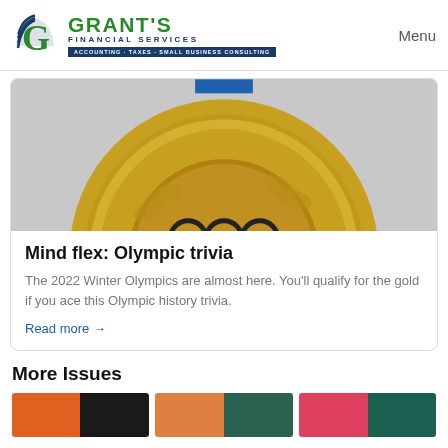GRANT'S FINANCIAL SERVICES — ACCOUNTING · TAXES · SMALL BUSINESS CONSULTING | Menu
[Figure (photo): Close-up of a gold Olympic medal showing the Olympic rings and laurel wreath design]
Mind flex: Olympic trivia
The 2022 Winter Olympics are almost here. You'll qualify for the gold if you ace this Olympic history trivia.
Read more →
More Issues
[Figure (photo): Three thumbnail images for More Issues section: orange/black, orange/teal, pink/teal color splits]